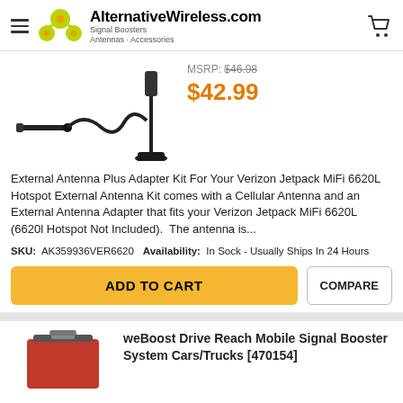AlternativeWireless.com — Signal Boosters, Antennas, Accessories
[Figure (photo): Product image: External antenna kit with cable adapter and magnetic base cellular antenna]
MSRP: $46.98
$42.99
External Antenna Plus Adapter Kit For Your Verizon Jetpack MiFi 6620L Hotspot External Antenna Kit comes with a Cellular Antenna and an External Antenna Adapter that fits your Verizon Jetpack MiFi 6620L (6620l Hotspot Not Included).  The antenna is...
SKU: AK359936VER6620
Availability: In Sock - Usually Ships In 24 Hours
ADD TO CART
COMPARE
[Figure (photo): Product image: weBoost Drive Reach Mobile Signal Booster System Cars/Trucks red box partially visible]
weBoost Drive Reach Mobile Signal Booster System Cars/Trucks [470154]